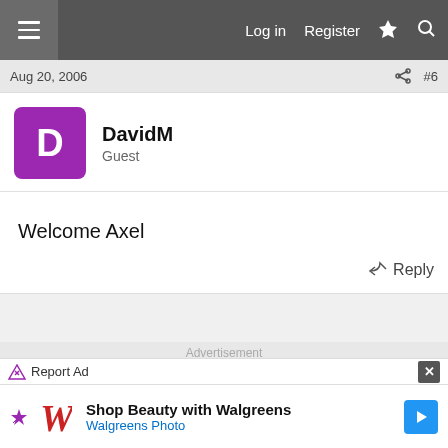Log in | Register
Aug 20, 2006  #6
DavidM
Guest
Welcome Axel
Reply
Advertisement
Report Ad
[Figure (screenshot): Walgreens advertisement banner: Shop Beauty with Walgreens / Walgreens Photo]